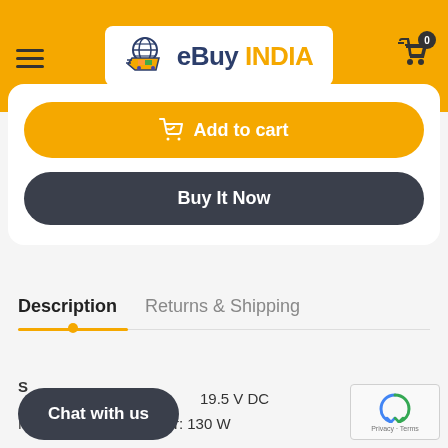eBuy INDIA
Add to cart
Buy It Now
Description
Returns & Shipping
19.5 V DC
Maximum Output Power: 130 W
Chat with us